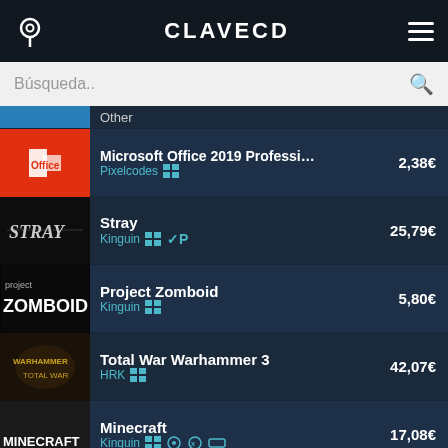CLAVECD
Búsqueda..
Microsoft Office 2019 Professional... | Pixelcodes | 2,38€
Stray | Kinguin | 25,79€
Project Zomboid | Kinguin | 5,80€
Total War Warhammer 3 | HRK | 42,07€
Minecraft | Kinguin | 17,08€
Cyberpunk 2077 | GamesFor... | 54,91€
Sea of Thieves
We use cookies to ensure that we give you the best experience on our website. If you continue to use this site we will assume that you are happy with it.